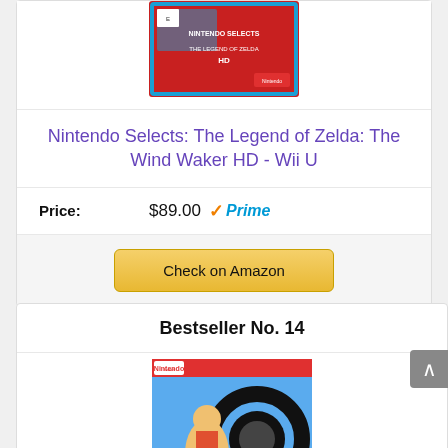[Figure (photo): Nintendo Selects: The Legend of Zelda: The Wind Waker HD game box for Wii U with red background and teal border]
Nintendo Selects: The Legend of Zelda: The Wind Waker HD - Wii U
Price: $89.00 Prime
Check on Amazon
Bestseller No. 14
[Figure (photo): Ring Fit Adventure game box for Nintendo Switch showing a person exercising with a ring controller]